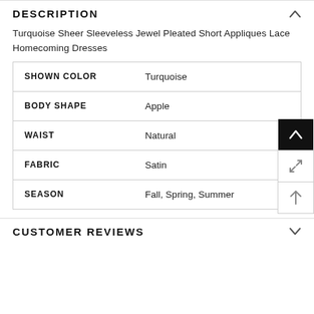DESCRIPTION
Turquoise Sheer Sleeveless Jewel Pleated Short Appliques Lace Homecoming Dresses
|  |  |
| --- | --- |
| SHOWN COLOR | Turquoise |
| BODY SHAPE | Apple |
| WAIST | Natural |
| FABRIC | Satin |
| SEASON | Fall, Spring, Summer |
CUSTOMER REVIEWS